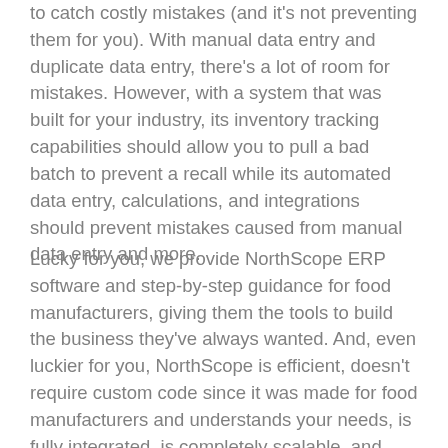to catch costly mistakes (and it's not preventing them for you). With manual data entry and duplicate data entry, there's a lot of room for mistakes. However, with a system that was built for your industry, its inventory tracking capabilities should allow you to pull a bad batch to prevent a recall while its automated data entry, calculations, and integrations should prevent mistakes caused from manual data entry and more.
Lucky for you, we provide NorthScope ERP software and step-by-step guidance for food manufacturers, giving them the tools to build the business they've always wanted. And, even luckier for you, NorthScope is efficient, doesn't require custom code since it was made for food manufacturers and understands your needs, is fully integrated, is completely scalable, and provides all the transparency and prevention tools for your food manufacturing business. Don't waste another season